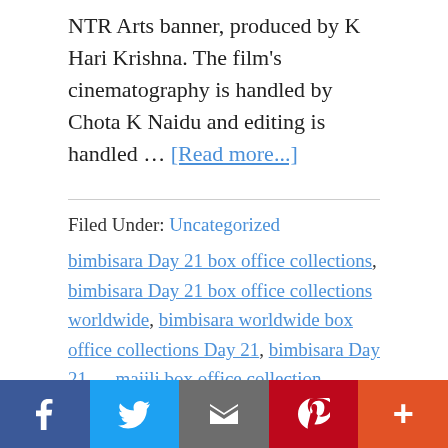NTR Arts banner, produced by K Hari Krishna. The film's cinematography is handled by Chota K Naidu and editing is handled … [Read more...]
Filed Under: Uncategorized
bimbisara Day 21 box office collections, bimbisara Day 21 box office collections worldwide, bimbisara worldwide box office collections Day 21, bimbisara Day 21…, majili box office collection worldwide, sholay box office collection worldwide, 2.0 box office collection day 1, kabir singh 5 day box office collection, kabir singh 9th day box office collection, airlift box office collection worldwide, bharat 1st day box office collection, bharat 1